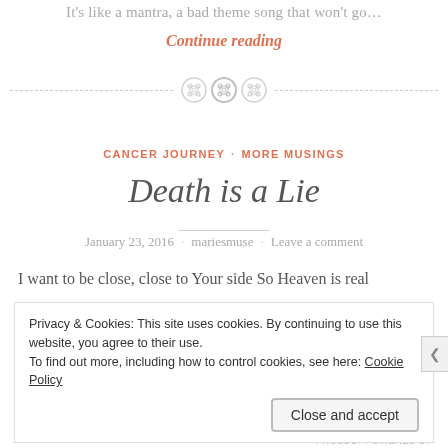It's like a mantra, a bad theme song that won't go...
Continue reading
[Figure (illustration): Decorative divider with three circular button icons and a dashed horizontal line]
CANCER JOURNEY · MORE MUSINGS
Death is a Lie
January 23, 2016 · mariesmuse · Leave a comment
I want to be close, close to Your side So Heaven is real
Privacy & Cookies: This site uses cookies. By continuing to use this website, you agree to their use.
To find out more, including how to control cookies, see here: Cookie Policy
Close and accept